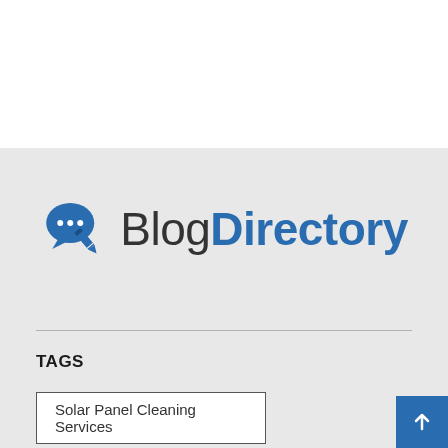[Figure (logo): Blog Directory logo with chat bubble icon and pencil]
TAGS
Solar Panel Cleaning Services